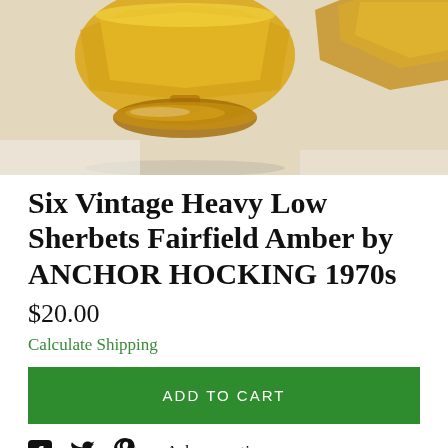[Figure (photo): Close-up photo of amber/golden vintage glass sherbet cups with pedestal bases on a white cloth background]
Six Vintage Heavy Low Sherbets Fairfield Amber by ANCHOR HOCKING 1970s
$20.00
Calculate Shipping
ADD TO CART
Ask a question